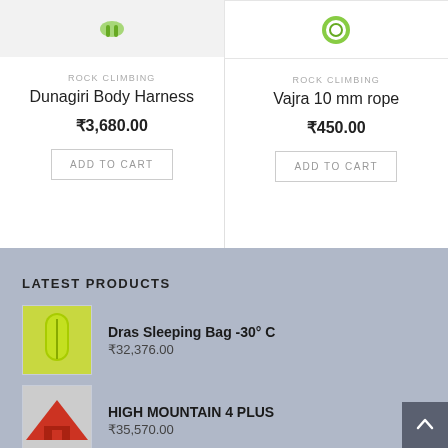[Figure (photo): Product image of Dunagiri Body Harness on grey background]
ROCK CLIMBING
Dunagiri Body Harness
₹3,680.00
ADD TO CART
[Figure (photo): Product image of Vajra 10 mm rope on white background]
ROCK CLIMBING
Vajra 10 mm rope
₹450.00
ADD TO CART
LATEST PRODUCTS
[Figure (photo): Thumbnail of green Dras Sleeping Bag]
Dras Sleeping Bag -30° C
₹32,376.00
[Figure (photo): Thumbnail of red HIGH MOUNTAIN 4 PLUS tent]
HIGH MOUNTAIN 4 PLUS
₹35,570.00